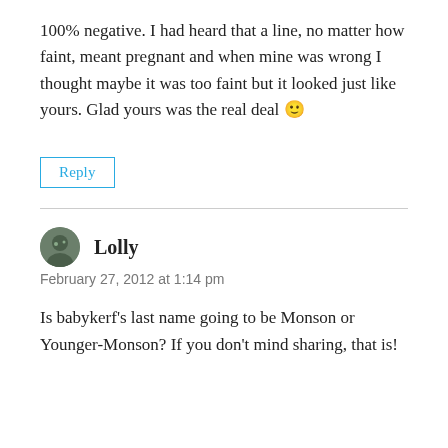100% negative. I had heard that a line, no matter how faint, meant pregnant and when mine was wrong I thought maybe it was too faint but it looked just like yours. Glad yours was the real deal 🙂
Reply
Lolly
February 27, 2012 at 1:14 pm
Is babykerf's last name going to be Monson or Younger-Monson? If you don't mind sharing, that is!